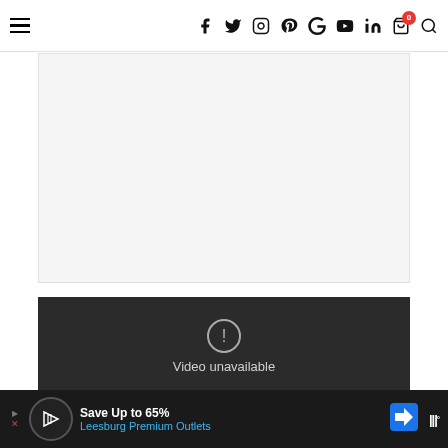Navigation bar with hamburger menu and social/action icons: f, Twitter, Instagram, Pinterest, G+, YouTube, LinkedIn, cart (0), search
[Figure (other): White/light gray advertisement placeholder area]
[Figure (screenshot): Dark video player showing 'Video unavailable' message with exclamation icon]
[Figure (other): Bottom advertisement bar: Save Up to 65% Leesburg Premium Outlets with logo and navigation icon]